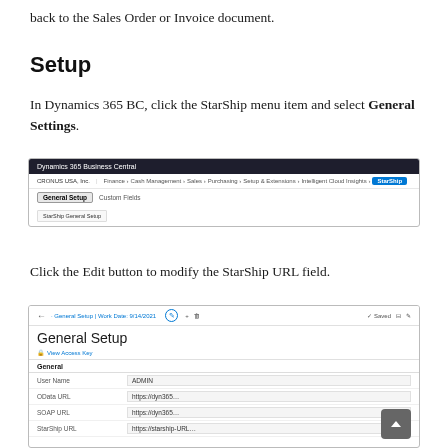back to the Sales Order or Invoice document.
Setup
In Dynamics 365 BC, click the StarShip menu item and select General Settings.
[Figure (screenshot): Dynamics 365 Business Central navigation bar showing StarShip menu with General Setup selected and a tooltip visible.]
Click the Edit button to modify the StarShip URL field.
[Figure (screenshot): General Setup page in Dynamics 365 BC showing fields: User Name (ADMIN), OData URL (https://dyn365...), SOAP URL (https://dyn365...), StarShip URL (partially visible).]